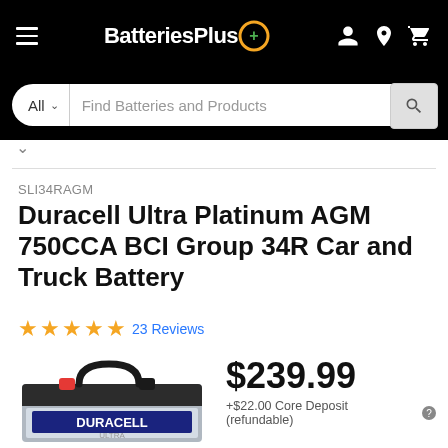BatteriesPlus+
All  Find Batteries and Products
v
SLI34RAGM
Duracell Ultra Platinum AGM 750CCA BCI Group 34R Car and Truck Battery
★★★★★ 23 Reviews
[Figure (photo): Duracell Ultra car battery, grey case with black top handle and red terminal cap, Duracell branding on front]
$239.99
+$22.00 Core Deposit (refundable)